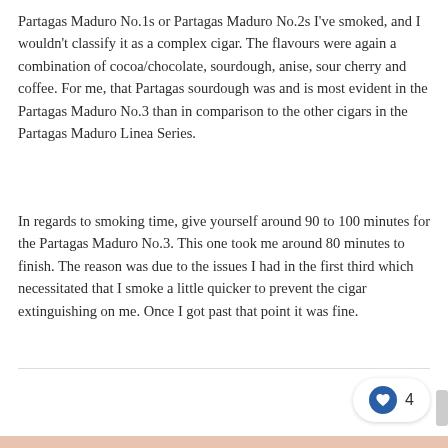Partagas Maduro No.1s or Partagas Maduro No.2s I've smoked, and I wouldn't classify it as a complex cigar. The flavours were again a combination of cocoa/chocolate, sourdough, anise, sour cherry and coffee. For me, that Partagas sourdough was and is most evident in the Partagas Maduro No.3 than in comparison to the other cigars in the Partagas Maduro Linea Series.
In regards to smoking time, give yourself around 90 to 100 minutes for the Partagas Maduro No.3. This one took me around 80 minutes to finish. The reason was due to the issues I had in the first third which necessitated that I smoke a little quicker to prevent the cigar extinguishing on me. Once I got past that point it was fine.